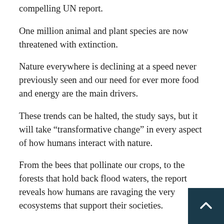compelling UN report.
One million animal and plant species are now threatened with extinction.
Nature everywhere is declining at a speed never previously seen and our need for ever more food and energy are the main drivers.
These trends can be halted, the study says, but it will take “transformative change” in every aspect of how humans interact with nature.
From the bees that pollinate our crops, to the forests that hold back flood waters, the report reveals how humans are ravaging the very ecosystems that support their societies.
Three years in the making, this global assessment of nature draws on 15,000 reference materials, and